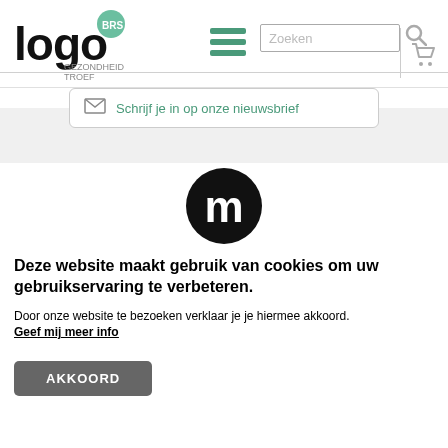[Figure (logo): Logo BRS Gezondheid Troef with stylized 'logo' text and circle with BRS text]
[Figure (illustration): Hamburger menu icon with three green horizontal bars]
Zoeken
[Figure (illustration): Search magnifying glass icon]
[Figure (illustration): Shopping cart icon]
Schrijf je in op onze nieuwsbrief
[Figure (logo): Moodle 'M' logo in black circle]
Deze website maakt gebruik van cookies om uw gebruikservaring te verbeteren.
Door onze website te bezoeken verklaar je je hiermee akkoord.
Geef mij meer info
AKKOORD